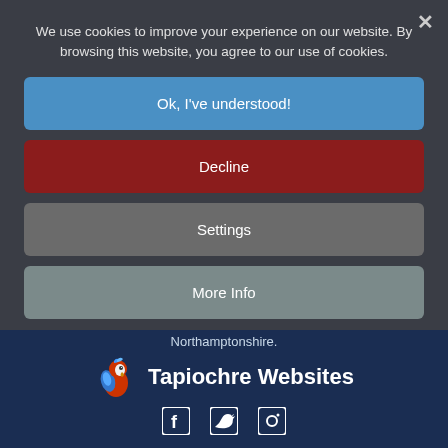We use cookies to improve your experience on our website. By browsing this website, you agree to our use of cookies.
Ok, I've understood!
Decline
Settings
More Info
Northamptonshire.
[Figure (logo): Tapiochre Websites logo with a parrot icon on the left and text 'Tapiochre Websites' on the right]
[Figure (infographic): Social media icons: Facebook, Twitter, Instagram]